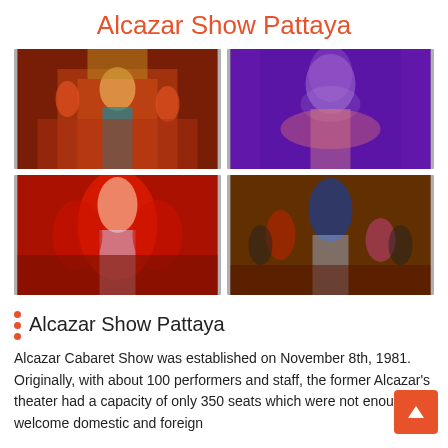Alcazar Show Pattaya
[Figure (photo): Four photos of Alcazar Cabaret Show Pattaya performers in elaborate costumes on stage: top-left shows performers in red and gold costumes on an ornate staircase set; top-right shows a performer in a blue and silver elaborate costume against a purple lit background; bottom-left shows a performer in a red feathered headdress and silver costume; bottom-right shows multiple performers including one with a large blue feathered headdress on a grand stage.]
Alcazar Show Pattaya
Alcazar Cabaret Show was established on November 8th, 1981. Originally, with about 100 performers and staff, the former Alcazar's theater had a capacity of only 350 seats which were not enough to welcome domestic and foreign